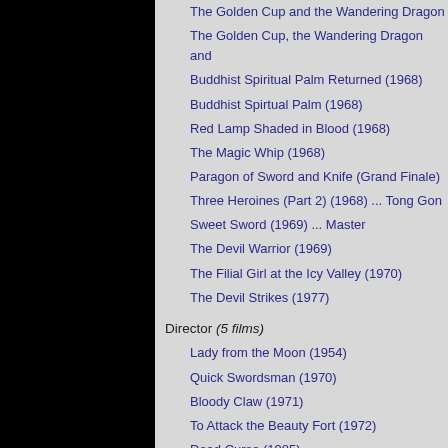The Golden Cup and the Wandering Dragon
The Golden Cup, the Wandering Dragon and
Buddhist Spiritual Palm Returned (1968)
Buddhist Spirtual Palm (1968)
Red Lamp Shaded in Blood (1968)
The Magic Whip (1968)
Paragon of Sword and Knife (Grand Finale)
Three Heroines (Part 2) (1968) ... Tong Gon
Sweet Sword (1969) ... Master
The Devil Warrior (1969)
The Filial Girl at the Icy Valley (1970)
The Devil Strikes (1977)
Director (5 films)
Lady from the Moon (1954)
Quick Swordsman (1970)
Bloody Claw (1971)
To Attack the Beauty Fort (1972)
Dead Curse (1985)
Props (1 film)
The Closer the Better (1952)